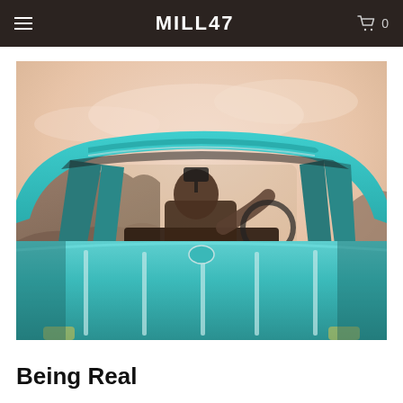MILL47
[Figure (photo): Rear view of a person driving a vintage teal/turquoise classic car, viewed through the back windshield from outside. The car's wide teal roof and chrome trim are prominent in the foreground. Rocky landscape and hazy sky visible in background.]
Being Real